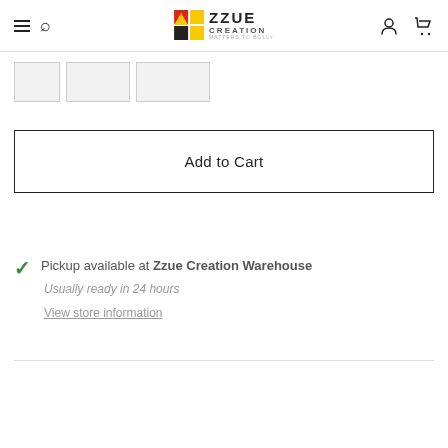Zzue Creation - navigation header with menu, search, logo, account, and cart icons
[Figure (screenshot): Three small thumbnail image placeholders in a row]
Add to Cart
Pickup available at Zzue Creation Warehouse. Usually ready in 24 hours. View store information.